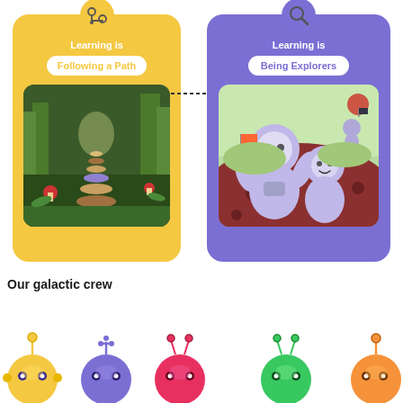[Figure (infographic): Two side-by-side cards. Left yellow card: icon of headphones/stethoscope at top, text 'Learning is' and white pill button 'Following a Path' in yellow text, below is an image of a forest path made of books. Right purple card: icon of magnifying glass at top, text 'Learning is' and white pill button 'Being Explorers' in purple text, below is a cartoon illustration of astronaut children exploring a planet. A dashed arrow connects the two pills.]
Learning is
Following a Path
Learning is
Being Explorers
Our galactic crew
[Figure (illustration): Row of five cartoon robot characters in yellow, purple, pink/red, green, and orange colors, each with antenna and round bodies with eyes.]